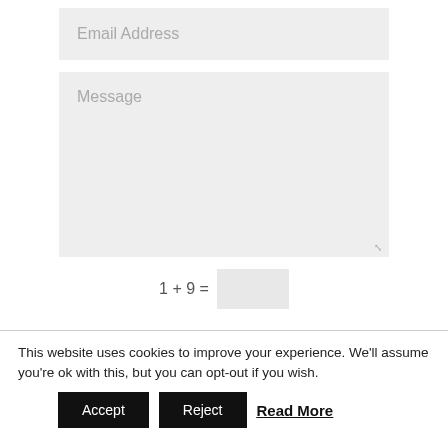Email Address
Message
This website uses cookies to improve your experience. We'll assume you're ok with this, but you can opt-out if you wish.
Accept
Reject
Read More